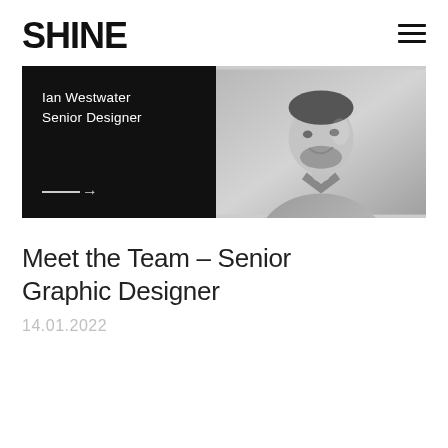SHINE
[Figure (photo): Split banner image: left side black background with white text reading 'Ian Westwater Senior Designer' and a right-pointing arrow; right side black-and-white photo of a smiling man with beard wearing a button-up shirt.]
Meet the Team – Senior Graphic Designer
14.01.2022